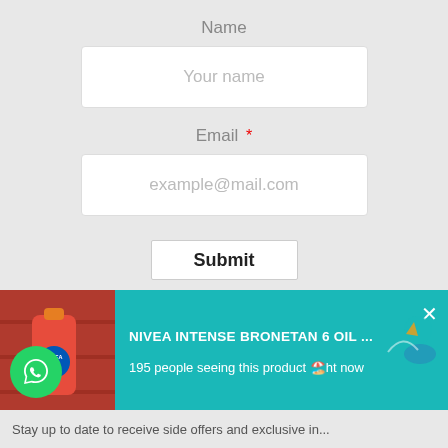Name
Your name
Email *
example@mail.com
Submit
[Figure (screenshot): Advertisement banner for NIVEA INTENSE BRONETAN 6 OIL with product image and text '195 people seeing this product right now'. Green WhatsApp button in corner.]
Stay up to date to receive side offers and exclusive in...